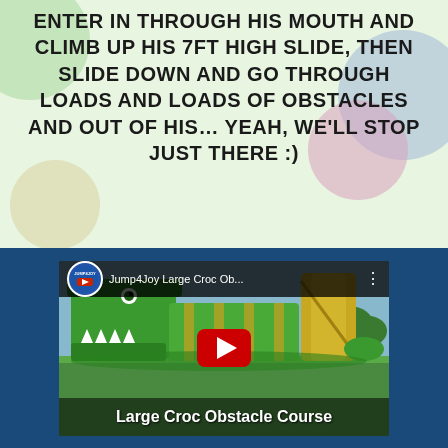ENTER IN THROUGH HIS MOUTH AND CLIMB UP HIS 7FT HIGH SLIDE, THEN SLIDE DOWN AND GO THROUGH LOADS AND LOADS OF OBSTACLES AND OUT OF HIS… YEAH, WE'LL STOP JUST THERE :)
[Figure (screenshot): YouTube video thumbnail showing Jump4Joy Large Croc Obstacle Course inflatable — a large green crocodile-shaped bounce and obstacle course on grass, with YouTube play button overlay and channel icon.]